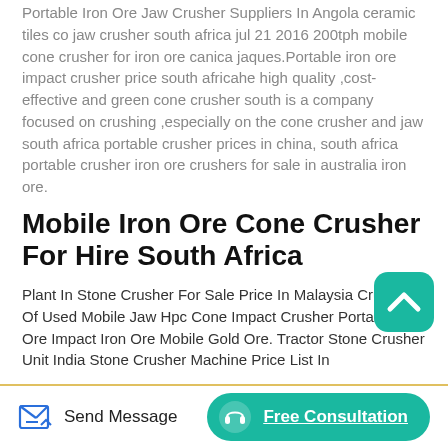Portable Iron Ore Jaw Crusher Suppliers In Angola ceramic tiles co jaw crusher south africa jul 21 2016 200tph mobile cone crusher for iron ore canica jaques.Portable iron ore impact crusher price south africahe high quality ,cost-effective and green cone crusher south is a company focused on crushing ,especially on the cone crusher and jaw south africa portable crusher prices in china, south africa portable crusher iron ore crushers for sale in australia iron ore.
Mobile Iron Ore Cone Crusher For Hire South Africa
Plant In Stone Crusher For Sale Price In Malaysia Crusher Of Used Mobile Jaw Hpc Cone Impact Crusher Portable Iron Ore Impact Iron Ore Mobile Gold Ore. Tractor Stone Crusher Unit India Stone Crusher Machine Price List In
[Figure (other): Teal rounded square scroll-up button with upward chevron icon]
Send Message   Free Consultation